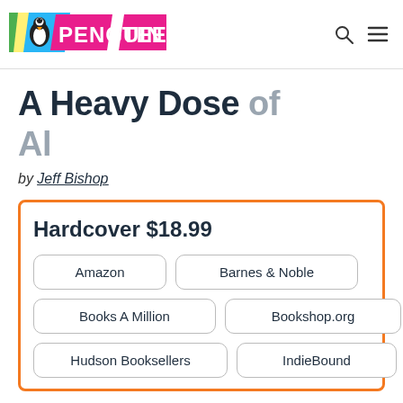Penguin Teen
A Heavy Dose of Al
by Jeff Bishop
Hardcover $18.99
Amazon
Barnes & Noble
Books A Million
Bookshop.org
Hudson Booksellers
IndieBound